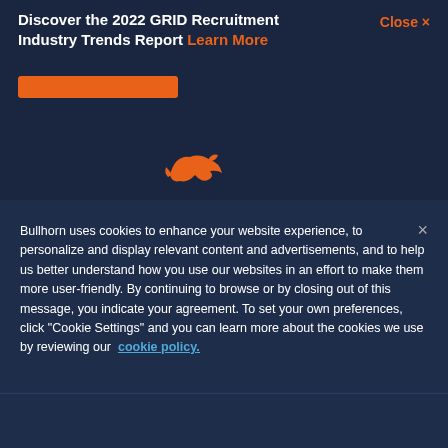Discover the 2022 GRID Recruitment Industry Trends Report Learn More
Close ×
[Figure (logo): Bullhorn orange running animal logo/icon]
Bullhorn uses cookies to enhance your website experience, to personalize and display relevant content and advertisements, and to help us better understand how you use our websites in an effort to make them more user-friendly. By continuing to browse or by closing out of this message, you indicate your agreement. To set your own preferences, click "Cookie Settings" and you can learn more about the cookies we use by reviewing our cookie policy.
Cookies Settings